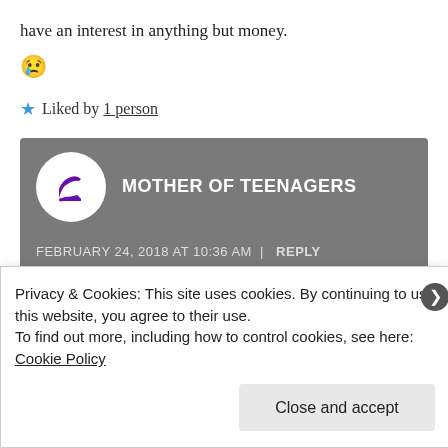have an interest in anything but money.
😢
★ Liked by 1 person
MOTHER OF TEENAGERS
FEBRUARY 24, 2018 AT 10:36 AM | REPLY
It is shocking what is happening in your country, we sit and watch from afar
Privacy & Cookies: This site uses cookies. By continuing to use this website, you agree to their use.
To find out more, including how to control cookies, see here: Cookie Policy
Close and accept